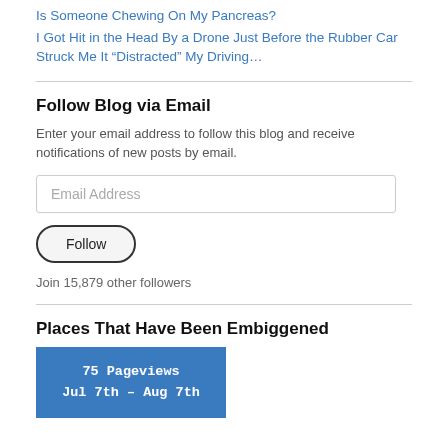Is Someone Chewing On My Pancreas?
I Got Hit in the Head By a Drone Just Before the Rubber Car Struck Me It “Distracted” My Driving…
Follow Blog via Email
Enter your email address to follow this blog and receive notifications of new posts by email.
Email Address
Follow
Join 15,879 other followers
Places That Have Been Embiggened
[Figure (infographic): Stats box showing 75 Pageviews, Jul 7th - Aug 7th on a blue background]